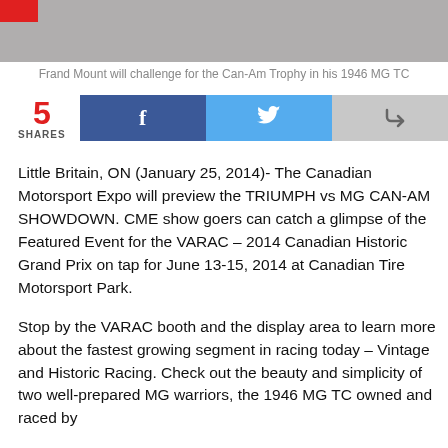[Figure (photo): Partial photo of a vintage racing car on track, with a red logo in the top-left corner]
Frand Mount will challenge for the Can-Am Trophy in his 1946 MG TC
5 SHARES [Facebook share button] [Twitter share button] [Share button]
Little Britain, ON (January 25, 2014)- The Canadian Motorsport Expo will preview the TRIUMPH vs MG CAN-AM SHOWDOWN.  CME show goers can catch a glimpse of the Featured Event for the VARAC – 2014 Canadian Historic Grand Prix on tap for June 13-15, 2014 at Canadian Tire Motorsport Park.
Stop by the VARAC booth and the display area to learn more about the fastest growing segment in racing today – Vintage and Historic Racing.  Check out the beauty and simplicity of two well-prepared MG warriors, the 1946 MG TC owned and raced by Frand Mount, and the MG that is the property of